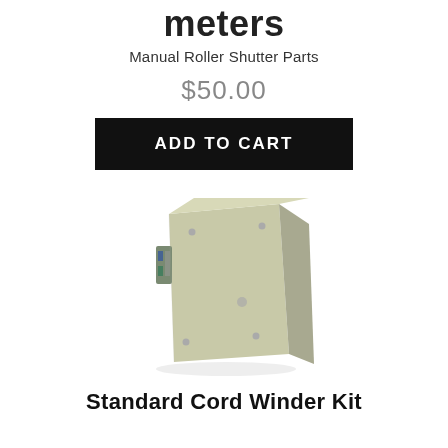meters
Manual Roller Shutter Parts
$50.00
ADD TO CART
[Figure (photo): A rectangular light beige/olive colored plastic box component, slightly angled view, with small holes visible on the front face and a connector on the left side.]
Standard Cord Winder Kit